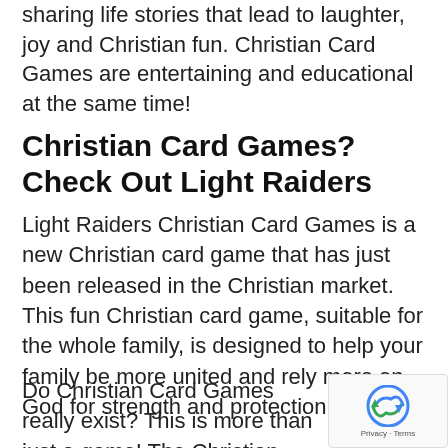sharing life stories that lead to laughter, joy and Christian fun. Christian Card Games are entertaining and educational at the same time!
Christian Card Games? Check Out Light Raiders
Light Raiders Christian Card Games is a new Christian card game that has just been released in the Christian market. This fun Christian card game, suitable for the whole family, is designed to help your family be more united and rely more on God for strength and protection.
Do Christian Card Games really exist? This is more than just a game! The Christian card game Light Raiders